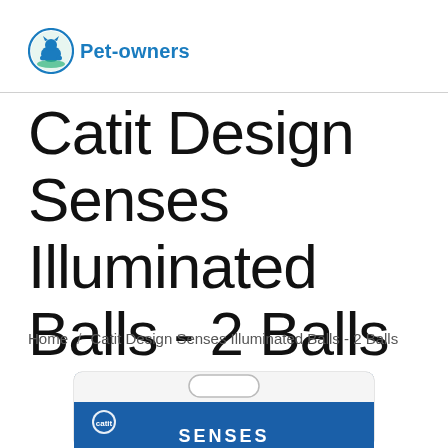Pet-owners
Catit Design Senses Illuminated Balls - 2 Balls
Home / Catit Design Senses Illuminated Balls - 2 Balls
[Figure (photo): Product packaging for Catit Design Senses Illuminated Balls, showing a blue and white retail card with the word SENSES visible at the bottom]